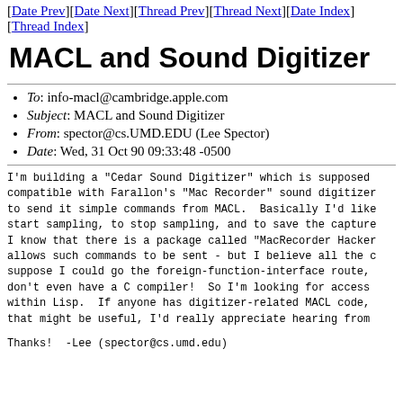[Date Prev][Date Next][Thread Prev][Thread Next][Date Index][Thread Index]
MACL and Sound Digitizer
To: info-macl@cambridge.apple.com
Subject: MACL and Sound Digitizer
From: spector@cs.UMD.EDU (Lee Spector)
Date: Wed, 31 Oct 90 09:33:48 -0500
I'm building a "Cedar Sound Digitizer" which is supposed compatible with Farallon's "Mac Recorder" sound digitizer to send it simple commands from MACL.  Basically I'd like start sampling, to stop sampling, and to save the capture I know that there is a package called "MacRecorder Hacker allows such commands to be sent - but I believe all the c suppose I could go the foreign-function-interface route, don't even have a C compiler!  So I'm looking for access within Lisp.  If anyone has digitizer-related MACL code, that might be useful, I'd really appreciate hearing from
Thanks!  -Lee (spector@cs.umd.edu)